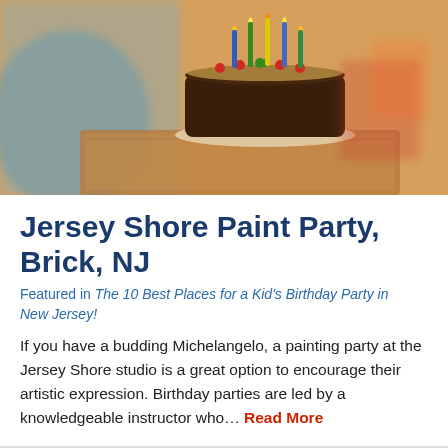[Figure (photo): A young child in a blue floral shirt looking at a chocolate birthday cake with colorful candles (blue, green, yellow) and red candy decorations on top, sitting on a wooden surface at a party.]
Jersey Shore Paint Party, Brick, NJ
Featured in The 10 Best Places for a Kid's Birthday Party in New Jersey!
If you have a budding Michelangelo, a painting party at the Jersey Shore studio is a great option to encourage their artistic expression. Birthday parties are led by a knowledgeable instructor who… Read More